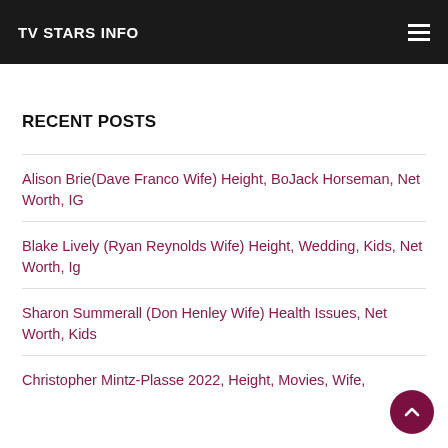TV STARS INFO
RECENT POSTS
Alison Brie(Dave Franco Wife) Height, BoJack Horseman, Net Worth, IG
Blake Lively (Ryan Reynolds Wife) Height, Wedding, Kids, Net Worth, Ig
Sharon Summerall (Don Henley Wife) Health Issues, Net Worth, Kids
Christopher Mintz-Plasse 2022, Height, Movies, Wife,